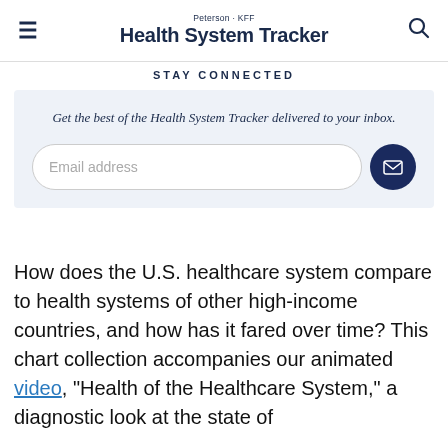Peterson KFF Health System Tracker
STAY CONNECTED
Get the best of the Health System Tracker delivered to your inbox.
How does the U.S. healthcare system compare to health systems of other high-income countries, and how has it fared over time? This chart collection accompanies our animated video, “Health of the Healthcare System,” a diagnostic look at the state of